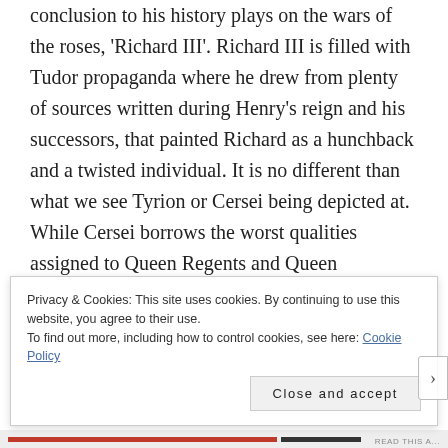conclusion to his history plays on the wars of the roses, 'Richard III'. Richard III is filled with Tudor propaganda where he drew from plenty of sources written during Henry's reign and his successors, that painted Richard as a hunchback and a twisted individual. It is no different than what we see Tyrion or Cersei being depicted at. While Cersei borrows the worst qualities assigned to Queen Regents and Queen Regnants during the Tudor era, the role she is playing in Daenery's story is similar to that of Richard III.
Privacy & Cookies: This site uses cookies. By continuing to use this website, you agree to their use.
To find out more, including how to control cookies, see here: Cookie Policy
Close and accept